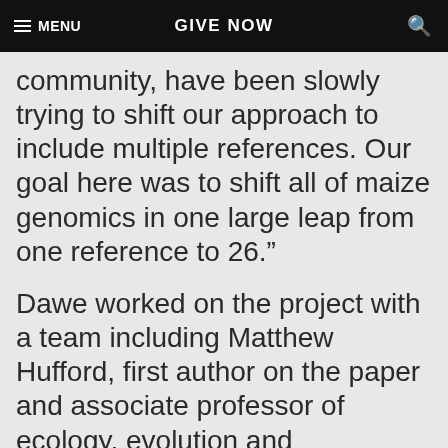MENU   GIVE NOW   [search]
community, have been slowly trying to shift our approach to include multiple references. Our goal here was to shift all of maize genomics in one large leap from one reference to 26.”
Dawe worked on the project with a team including Matthew Hufford, first author on the paper and associate professor of ecology, evolution and organismal biology at Iowa State University, where the analysis was performed.
Continue Reading